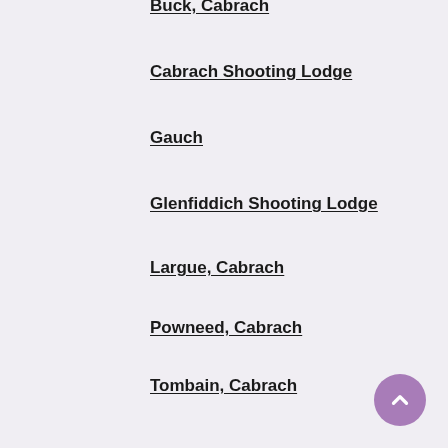Buck, Cabrach
Cabrach Shooting Lodge
Gauch
Glenfiddich Shooting Lodge
Largue, Cabrach
Powneed, Cabrach
Tombain, Cabrach
Upper Cabrach School
The Temple of Polmona [or fame]
Tollafraick, Glenkindie